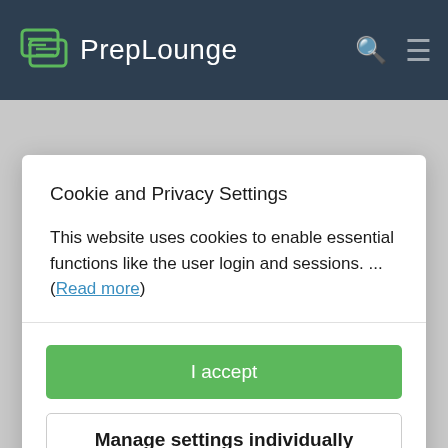PrepLounge
McKinsey & Company
Cookie and Privacy Settings
This website uses cookies to enable essential functions like the user login and sessions. ... (Read more)
I accept
Manage settings individually